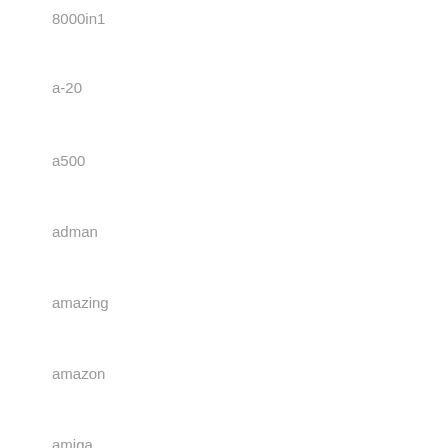8000in1
a-20
a500
adman
amazing
amazon
amiga
analogue
anbernic
android
apple
arcade
arcade1up
arcadia
asteroids